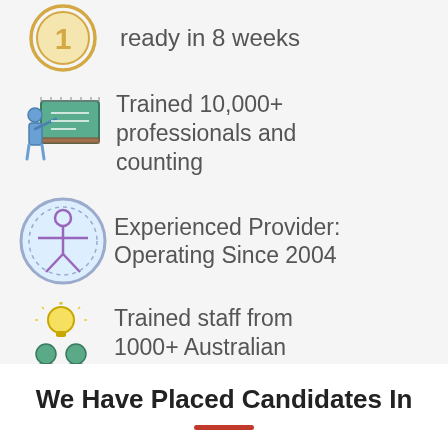ready in 8 weeks
Trained 10,000+ professionals and counting
Experienced Provider: Operating Since 2004
Trained staff from 1000+ Australian Businesses
We Have Placed Candidates In